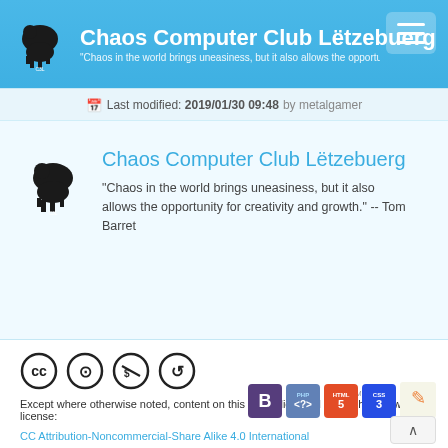Chaos Computer Club Lëtzebuerg — "Chaos in the world brings uneasiness, but it also allows the opportunity for creativity and growth." -- Tom Barret
Last modified: 2019/01/30 09:48 by metalgamer
Chaos Computer Club Lëtzebuerg
"Chaos in the world brings uneasiness, but it also allows the opportunity for creativity and growth." -- Tom Barret
Except where otherwise noted, content on this wiki is licensed under the following license:
CC Attribution-Noncommercial-Share Alike 4.0 International